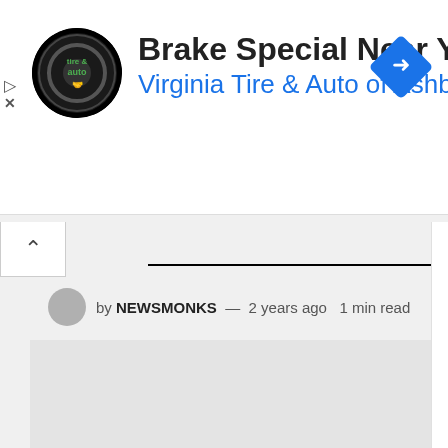[Figure (screenshot): Advertisement banner for Virginia Tire & Auto of Ashburn with circular logo, bold title 'Brake Special Near You', blue subtitle 'Virginia Tire & Auto of Ashburn ...', and a blue diamond navigation icon on the right. Small play and close (X) buttons on the far left.]
by NEWSMONKS — 2 years ago  1 min read